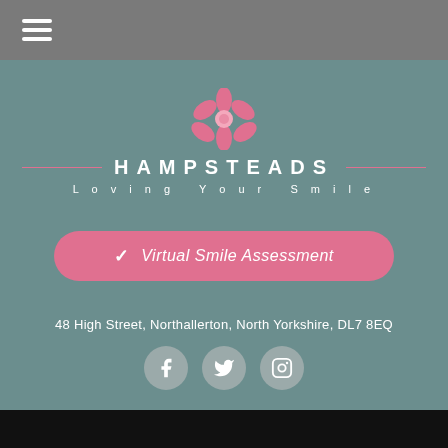[Figure (screenshot): Hamburger menu icon (three white horizontal lines) on grey header bar]
[Figure (logo): Hampsteads dental practice logo: pink flower above the word HAMPSTEADS with decorative lines and tagline Loving Your Smile]
✓ Virtual Smile Assessment
48 High Street, Northallerton, North Yorkshire, DL7 8EQ
[Figure (infographic): Three social media icons (Facebook, Twitter, Instagram) in grey circles]